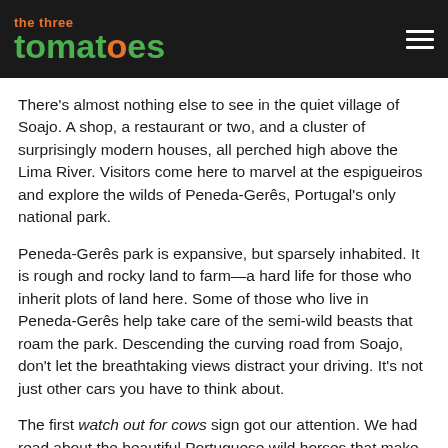the three tomatoes
There's almost nothing else to see in the quiet village of Soajo. A shop, a restaurant or two, and a cluster of surprisingly modern houses, all perched high above the Lima River. Visitors come here to marvel at the espigueiros and explore the wilds of Peneda-Gerês, Portugal's only national park.
Peneda-Gerês park is expansive, but sparsely inhabited. It is rough and rocky land to farm—a hard life for those who inherit plots of land here. Some of those who live in Peneda-Gerês help take care of the semi-wild beasts that roam the park. Descending the curving road from Soajo, don't let the breathtaking views distract your driving. It's not just other cars you have to think about.
The first watch out for cows sign got our attention. We had read about the beautiful Portuguese wild horses that make their home in the park. But cows? Our first cow encounter came as we left the granaries.